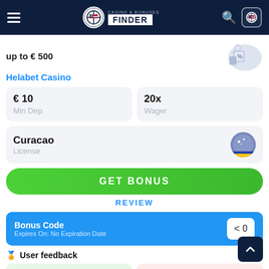[Figure (screenshot): Casino & Bonuses Finder website header with hamburger menu, logo, search icon, and flag button on dark navy background]
up to € 500
Helabet Casino
€ 10
Min Dep
20x
Wager
Curacao
License
GET BONUS
REVIEW
Bonus Code
Expires On: No Expiration Date
User feedback
3
GOOD
0
BAD